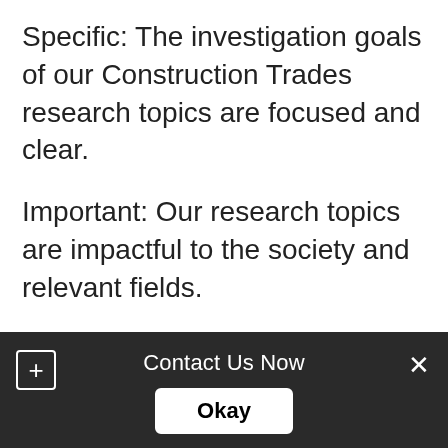Specific: The investigation goals of our Construction Trades research topics are focused and clear.
Important: Our research topics are impactful to the society and relevant fields.
Evergreen: Our research topics can never go out of date as they are always novel.
Plagiarism free: Our Construction Trades research topics are not plagiarized so you can
Contact Us Now  Okay